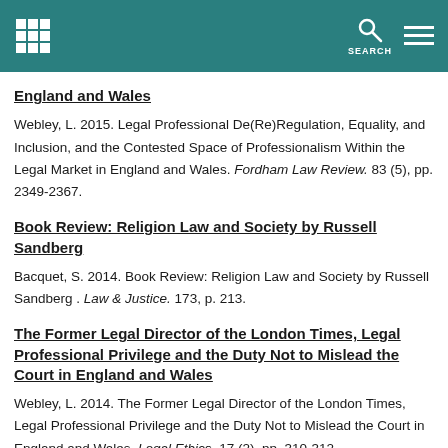SEARCH
England and Wales
Webley, L. 2015. Legal Professional De(Re)Regulation, Equality, and Inclusion, and the Contested Space of Professionalism Within the Legal Market in England and Wales. Fordham Law Review. 83 (5), pp. 2349-2367.
Book Review: Religion Law and Society by Russell Sandberg
Bacquet, S. 2014. Book Review: Religion Law and Society by Russell Sandberg . Law & Justice. 173, p. 213.
The Former Legal Director of the London Times, Legal Professional Privilege and the Duty Not to Mislead the Court in England and Wales
Webley, L. 2014. The Former Legal Director of the London Times, Legal Professional Privilege and the Duty Not to Mislead the Court in England and Wales. Legal Ethics. 17 (2), pp. 310-312.